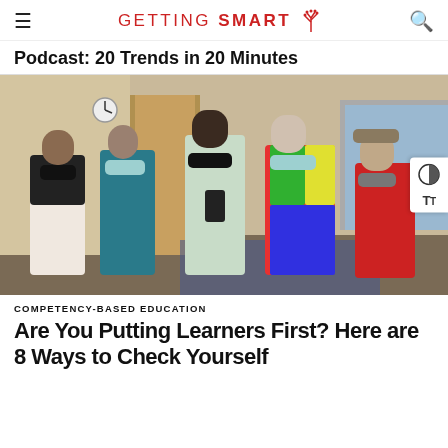GETTING SMART
Podcast: 20 Trends in 20 Minutes
[Figure (photo): Five students/people wearing face masks standing in a school hallway/classroom. From left to right: person with black mask and white-black jacket, person with blue mask and teal jacket with orange backpack, tall person with black mask and light hoodie holding phone, person with colorful tie-dye rainbow jacket and blue face mask, and a woman in a red top with a cap.]
COMPETENCY-BASED EDUCATION
Are You Putting Learners First? Here are 8 Ways to Check Yourself